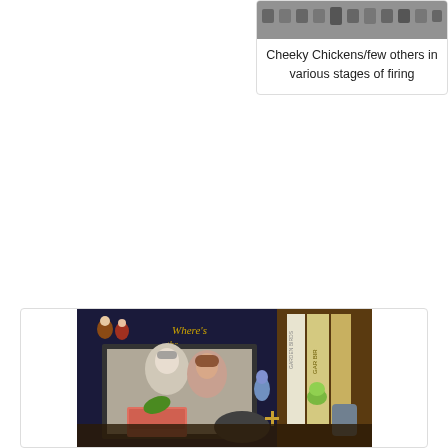[Figure (photo): Small photo thumbnail showing chickens/ceramic pieces in various stages of firing, displayed in a card with border]
Cheeky Chickens/few others in various stages of firing
[Figure (photo): Photo of a shelf or table display with a framed photo of a couple, a book titled 'Where's the Dragon?', garden bird books, ceramic figurines including a blue bird, green frog, decorative box with leaf motif, stone carving, and other collectibles]